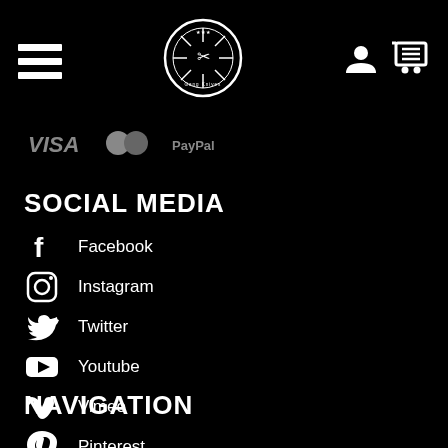[Figure (screenshot): Website header navigation bar with hamburger menu icon on the left, circular logo in the center, and user/cart icons on the right on black background]
[Figure (screenshot): Payment method icons strip (VISA, and other payment logos) on black background]
SOCIAL MEDIA
Facebook
Instagram
Twitter
Youtube
Vimeo
Pinterest
NAVIGATION